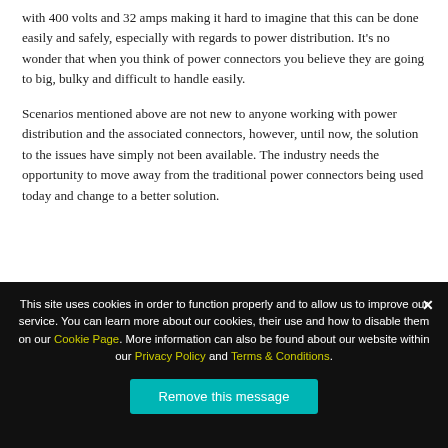with 400 volts and 32 amps making it hard to imagine that this can be done easily and safely, especially with regards to power distribution. It's no wonder that when you think of power connectors you believe they are going to big, bulky and difficult to handle easily.
Scenarios mentioned above are not new to anyone working with power distribution and the associated connectors, however, until now, the solution to the issues have simply not been available. The industry needs the opportunity to move away from the traditional power connectors being used today and change to a better solution.
This site uses cookies in order to function properly and to allow us to improve our service. You can learn more about our cookies, their use and how to disable them on our Cookie Page. More information can also be found about our website within our Privacy Policy and Terms & Conditions.